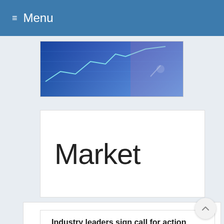≡ Menu
[Figure (photo): Partial image of a person pointing at a financial chart on a screen with blue tones]
Market
Industry leaders sign call for action on shipping